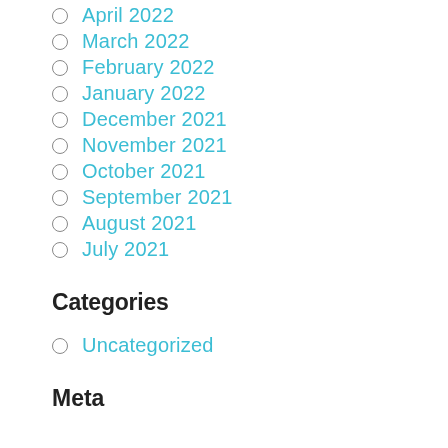April 2022
March 2022
February 2022
January 2022
December 2021
November 2021
October 2021
September 2021
August 2021
July 2021
Categories
Uncategorized
Meta